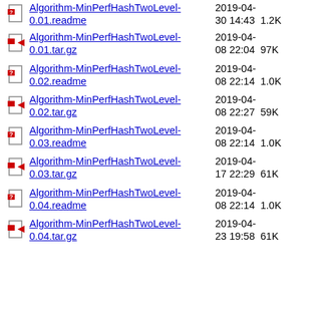Algorithm-MinPerfHashTwoLevel-0.01.readme  2019-04-30 14:43  1.2K
Algorithm-MinPerfHashTwoLevel-0.01.tar.gz  2019-04-08 22:04  97K
Algorithm-MinPerfHashTwoLevel-0.02.readme  2019-04-08 22:14  1.0K
Algorithm-MinPerfHashTwoLevel-0.02.tar.gz  2019-04-08 22:27  59K
Algorithm-MinPerfHashTwoLevel-0.03.readme  2019-04-08 22:14  1.0K
Algorithm-MinPerfHashTwoLevel-0.03.tar.gz  2019-04-17 22:29  61K
Algorithm-MinPerfHashTwoLevel-0.04.readme  2019-04-08 22:14  1.0K
Algorithm-MinPerfHashTwoLevel-0.04.tar.gz  2019-04-23 19:58  61K